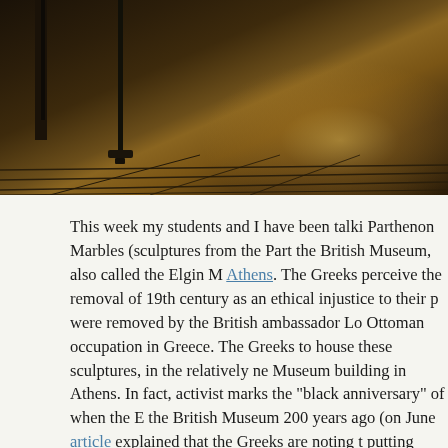[Figure (photo): Dimly lit museum gallery interior with dark wooden floor and warm spotlight glow, showing a barrier pole on the left side]
This week my students and I have been talking about the Parthenon Marbles (sculptures from the Parthenon now in the British Museum, also called the Elgin Marbles) and Athens. The Greeks perceive the removal of these in the 19th century as an ethical injustice to their people. They were removed by the British ambassador Lord Elgin during Ottoman occupation in Greece. The Greeks have also built to house these sculptures, in the relatively new Acropolis Museum building in Athens. In fact, activists note that this marks the "black anniversary" of when the Parthenon pieces the British Museum 200 years ago (on June article explained that the Greeks are noting this date and putting extra pressure on the British to return